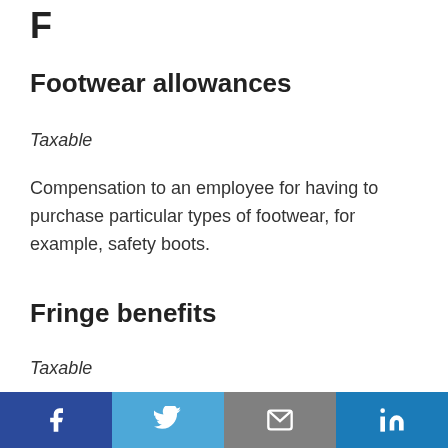F
Footwear allowances
Taxable
Compensation to an employee for having to purchase particular types of footwear, for example, safety boots.
Fringe benefits
Taxable
Value of benefits grossed up by Type 2 rate.
Facebook | Twitter | Email | LinkedIn